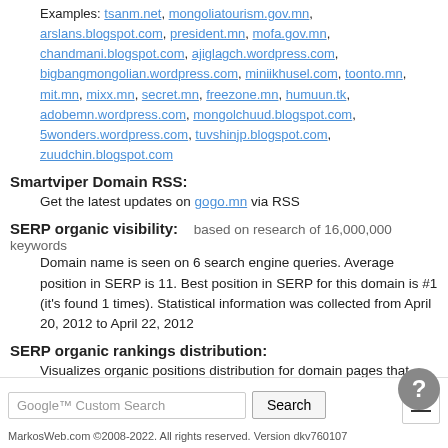Examples: tsanm.net, mongoliatourism.gov.mn, arslans.blogspot.com, president.mn, mofa.gov.mn, chandmani.blogspot.com, ajiglagch.wordpress.com, bigbangmongolian.wordpress.com, miniikhusel.com, toonto.mn, mit.mn, mixx.mn, secret.mn, freezone.mn, humuun.tk, adobemn.wordpress.com, mongolchuud.blogspot.com, 5wonders.wordpress.com, tuvshinjp.blogspot.com, zuudchin.blogspot.com
Smartviper Domain RSS:
Get the latest updates on gogo.mn via RSS
SERP organic visibility:
based on research of 16,000,000 keywords
Domain name is seen on 6 search engine queries. Average position in SERP is 11. Best position in SERP for this domain is #1 (it's found 1 times). Statistical information was collected from April 20, 2012 to April 22, 2012
SERP organic rankings distribution:
Visualizes organic positions distribution for domain pages that were found in top 40 results.
MarkosWeb.com ©2008-2022. All rights reserved. Version dkv760107